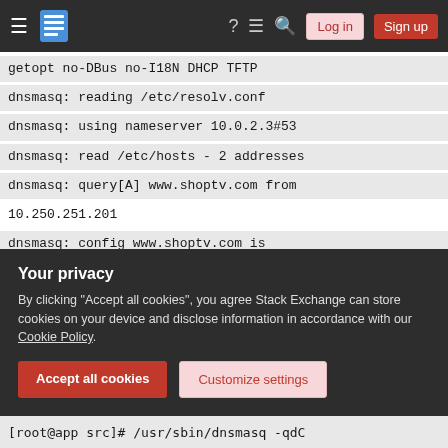Stack Exchange navigation bar with Log in and Sign up buttons
getopt no-DBus no-I18N DHCP TFTP
dnsmasq: reading /etc/resolv.conf
dnsmasq: using nameserver 10.0.2.3#53
dnsmasq: read /etc/hosts - 2 addresses
dnsmasq: query[A] www.shoptv.com from
10.250.251.201
dnsmasq: config www.shoptv.com is
10.250.251.201
dnsmasq: query[AAAA] www.shoptv.com from
10.250.251.201
dnsmasq: config www.shoptv.com is NODATA-
Your privacy
By clicking "Accept all cookies", you agree Stack Exchange can store cookies on your device and disclose information in accordance with our Cookie Policy.
Accept all cookies
Customize settings
[root@app src]# /usr/sbin/dnsmasq -qdC